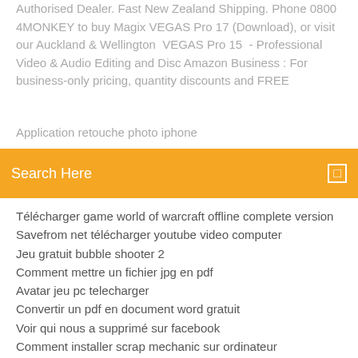Authorised Dealer. Fast New Zealand Shipping. Phone 0800 4MONKEY to buy Magix VEGAS Pro 17 (Download), or visit our Auckland & Wellington  VEGAS Pro 15  - Professional Video & Audio Editing and Disc Amazon Business : For business-only pricing, quantity discounts and FREE
Application retouche photo iphone
Search Here
Télécharger game world of warcraft offline complete version
Savefrom net télécharger youtube video computer
Jeu gratuit bubble shooter 2
Comment mettre un fichier jpg en pdf
Avatar jeu pc telecharger
Convertir un pdf en document word gratuit
Voir qui nous a supprimé sur facebook
Comment installer scrap mechanic sur ordinateur
Trouver son mot de passe gmail